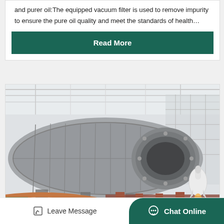and purer oil:The equipped vacuum filter is used to remove impurity to ensure the pure oil quality and meet the standards of health…
Read More
[Figure (photo): Industrial machinery inside a factory — large cylindrical rotating drum/ball mill equipment with metal framework, pipes, and steel structure in background, faded/washed-out industrial photo.]
Leave Message   Chat Online